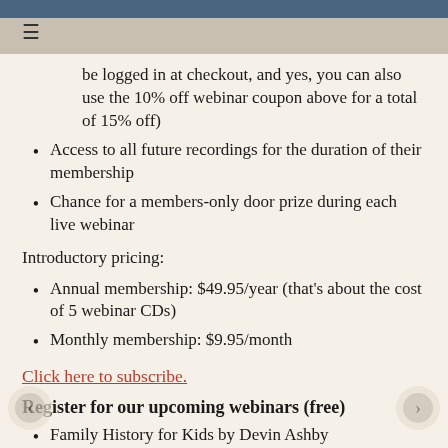≡
be logged in at checkout, and yes, you can also use the 10% off webinar coupon above for a total of 15% off)
Access to all future recordings for the duration of their membership
Chance for a members-only door prize during each live webinar
Introductory pricing:
Annual membership: $49.95/year (that's about the cost of 5 webinar CDs)
Monthly membership: $9.95/month
Click here to subscribe.
Register for our upcoming webinars (free)
Family History for Kids by Devin Ashby